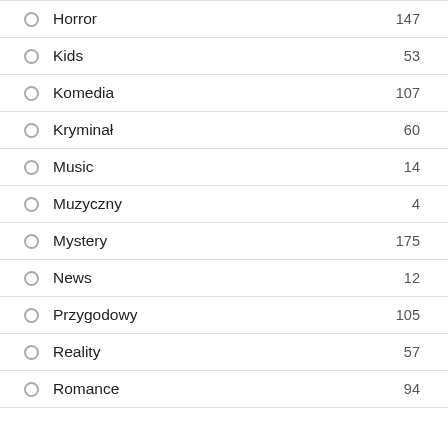Horror 147
Kids 53
Komedia 107
Kryminał 60
Music 14
Muzyczny 4
Mystery 175
News 12
Przygodowy 105
Reality 57
Romance 94